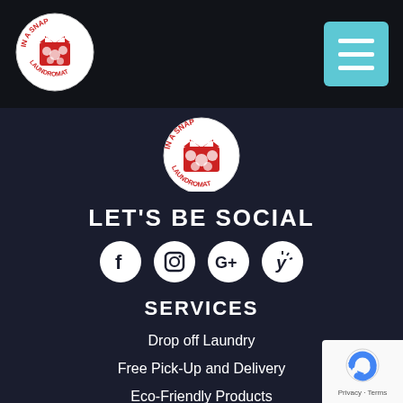[Figure (logo): In A Snap Laundromat circular logo - top left in navigation bar]
[Figure (other): Hamburger menu button - cyan/teal square with three white horizontal lines]
[Figure (logo): In A Snap Laundromat circular logo - centered below nav bar]
LET'S BE SOCIAL
[Figure (infographic): Four social media icons in white circles: Facebook (f), Instagram (camera), Google+ (G+), Yelp (y)]
SERVICES
Drop off Laundry
Free Pick-Up and Delivery
Eco-Friendly Products
Fast & High Quality
Self Service and Laundromat
Express Waser & Dryers
[Figure (other): Google reCAPTCHA badge bottom right - white background with reCAPTCHA logo and Privacy / Terms text]